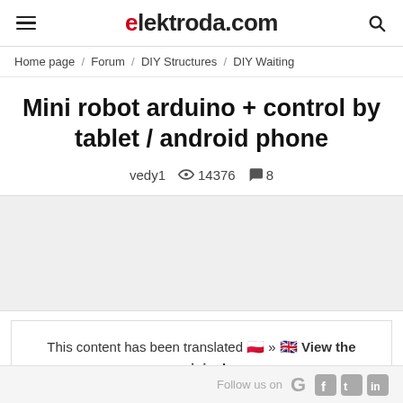elektroda.com
Home page / Forum / DIY Structures / DIY Waiting
Mini robot arduino + control by tablet / android phone
vedy1   14376   8
This content has been translated [PL] » [UK] View the original version here.
Follow us on G f t in